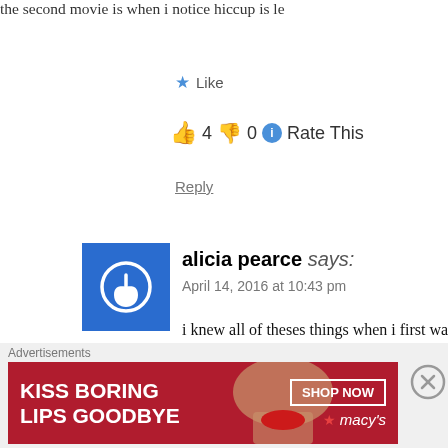the second movie is when i notice hiccup is le
★ Like
👍 4 👎 0 ⓘ Rate This
Reply
alicia pearce says:
April 14, 2016 at 10:43 pm
i knew all of theses things when i first watched like some of those answers are so easy to find it will ever be.
i have liked this movie ever since i was 9 and you also dont even bother to right
Advertisements
[Figure (infographic): Macy's advertisement banner: KISS BORING LIPS GOODBYE with SHOP NOW button and Macy's star logo, dark red background with woman's face]